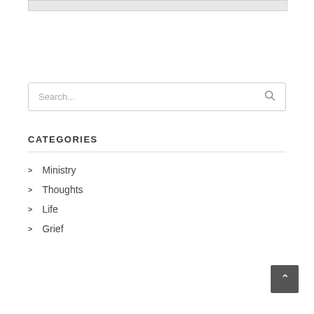[Figure (other): Gray image bar at the top of the page]
Search...
CATEGORIES
Ministry
Thoughts
Life
Grief